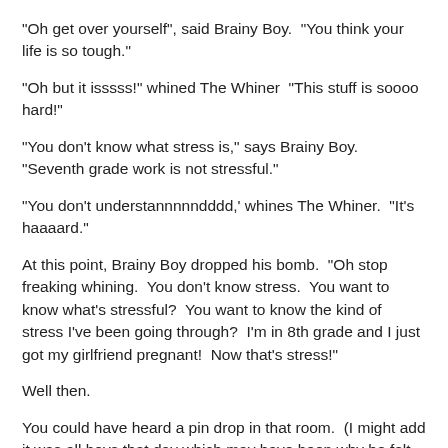"Oh get over yourself", said Brainy Boy.  "You think your life is so tough."
"Oh but it isssss!" whined The Whiner  "This stuff is soooo hard!"
"You don't know what stress is," says Brainy Boy.  "Seventh grade work is not stressful."
"You don't understannnnndddd,' whines The Whiner.  "It's haaaard."
At this point, Brainy Boy dropped his bomb.  "Oh stop freaking whining.  You don't know stress.  You want to know what's stressful?  You want to know the kind of stress I've been going through?  I'm in 8th grade and I just got my girlfriend pregnant!  Now that's stress!"
Well then.
You could have heard a pin drop in that room.  (I might add it was all boys that day which may have been why he felt...